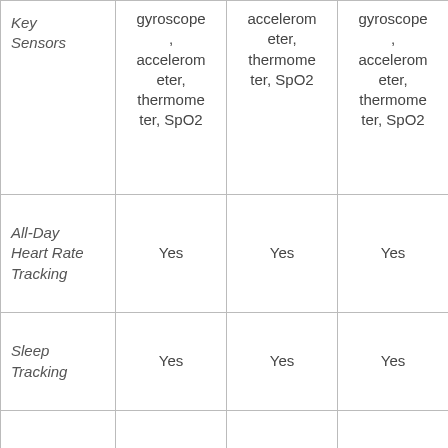|  | Col2 | Col3 | Col4 |
| --- | --- | --- | --- |
| Key Sensors | gyroscope, accelerometer, thermometer, SpO2 | accelerometer, thermometer, SpO2 | gyroscope, accelerometer, thermometer, SpO2 |
| All-Day Heart Rate Tracking | Yes | Yes | Yes |
| Sleep Tracking | Yes | Yes | Yes |
| Sleep Score and Insights | Yes | No | No |
| Women's Health... | Yes | Yes | Yes |